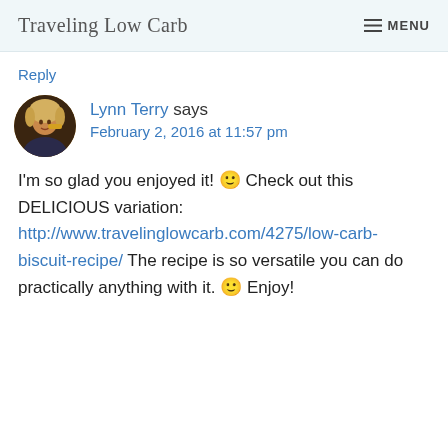Traveling Low Carb   MENU
Reply
[Figure (photo): Circular avatar photo of Lynn Terry, a woman with blonde hair]
Lynn Terry says
February 2, 2016 at 11:57 pm
I'm so glad you enjoyed it! 🙂 Check out this DELICIOUS variation: http://www.travelinglowcarb.com/4275/low-carb-biscuit-recipe/ The recipe is so versatile you can do practically anything with it. 🙂 Enjoy!